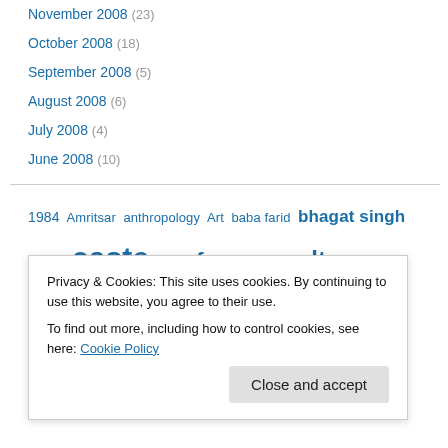November 2008 (23)
October 2008 (18)
September 2008 (5)
August 2008 (6)
July 2008 (4)
June 2008 (10)
1984 Amritsar anthropology Art baba farid bhagat singh britain caste conference culture dalits development Diaspora doctoral students documentary film East Punjab education ethnicity
Privacy & Cookies: This site uses cookies. By continuing to use this website, you agree to their use. To find out more, including how to control cookies, see here: Cookie Policy